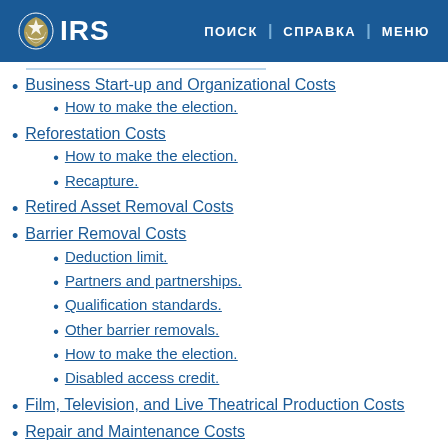IRS | ПОИСК | СПРАВКА | МЕНЮ
Business Start-up and Organizational Costs
How to make the election.
Reforestation Costs
How to make the election.
Recapture.
Retired Asset Removal Costs
Barrier Removal Costs
Deduction limit.
Partners and partnerships.
Qualification standards.
Other barrier removals.
How to make the election.
Disabled access credit.
Film, Television, and Live Theatrical Production Costs
Repair and Maintenance Costs
How to make the election.
Amortization